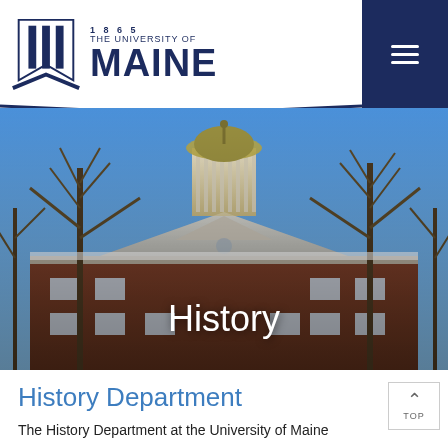1865 THE UNIVERSITY OF MAINE
[Figure (photo): University of Maine campus building with cupola, bare winter trees, and blue sky. The word 'History' overlaid in white text at the bottom center.]
History Department
The History Department at the University of Maine